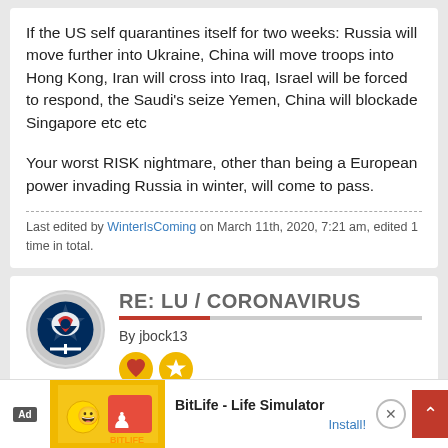If the US self quarantines itself for two weeks: Russia will move further into Ukraine, China will move troops into Hong Kong, Iran will cross into Iraq, Israel will be forced to respond, the Saudi's seize Yemen, China will blockade Singapore etc etc
Your worst RISK nightmare, other than being a European power invading Russia in winter, will come to pass.
Last edited by WinterIsComing on March 11th, 2020, 7:21 am, edited 1 time in total.
RE: LU / CORONAVIRUS
By jbock13
- March 11th, 2020, 6:17 am   #59701
[Figure (screenshot): Advertisement banner for BitLife - Life Simulator app with Ad label, colorful graphic and Install! link]